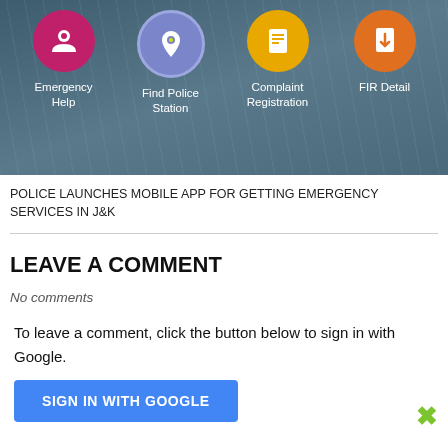[Figure (screenshot): Mobile app screenshot showing icons for Emergency Help, Find Police Station, Complaint Registration, and FIR Detail on a dark blue background]
POLICE LAUNCHES MOBILE APP FOR GETTING EMERGENCY SERVICES IN J&K
LEAVE A COMMENT
No comments
To leave a comment, click the button below to sign in with Google.
SIGN IN WITH GOOGLE